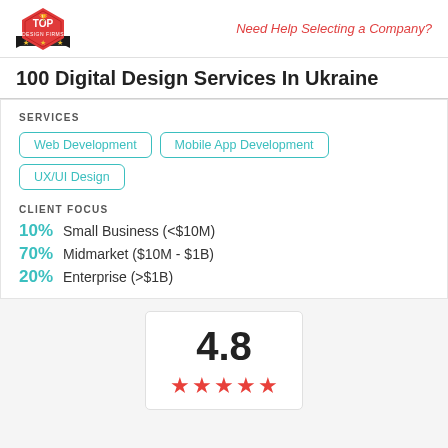Top Design Firms logo | Need Help Selecting a Company?
100 Digital Design Services In Ukraine
SERVICES
Web Development
Mobile App Development
UX/UI Design
CLIENT FOCUS
10% Small Business (<$10M)
70% Midmarket ($10M - $1B)
20% Enterprise (>$1B)
[Figure (infographic): Rating box showing 4.8 score with 5 red stars]